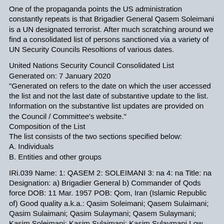One of the propaganda points the US administration constantly repeats is that Brigadier General Qasem Soleimani is a UN designated terrorist. After much scratching around we find a consolidated list of persons sanctioned via a variety of UN Security Councils Resoltions of various dates.
United Nations Security Council Consolidated List
Generated on: 7 January 2020
"Generated on refers to the date on which the user accessed the list and not the last date of substantive update to the list. Information on the substantive list updates are provided on the Council / Committee's website."
Composition of the List
The list consists of the two sections specified below:
A. Individuals
B. Entities and other groups
IRi.039 Name: 1: QASEM 2: SOLEIMANI 3: na 4: na Title: na Designation: a) Brigadier General b) Commander of Qods force DOB: 11 Mar. 1957 POB: Qom, Iran (Islamic Republic of) Good quality a.k.a.: Qasim Soleimani; Qasem Sulaimani; Qasim Sulaimani; Qasim Sulaymani; Qasem Sulaymani; Kasim Soleimani; Kasim Sulaimani; Kasim Sulaymani Low quality a.k.a.: Haj Qasem; Haji Qassem; Sardar Soleimani Nationality: na Passport no: number 008827, issued in Iran (Islamic Republic of) National identification no: na Address: na Listed on: 24 Mar. 2007 (amended on 17 Dec. 2014)